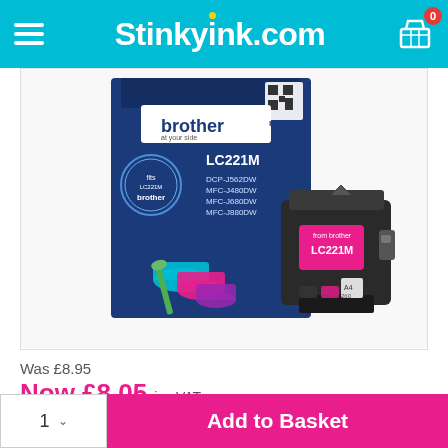Stinkyink.com
[Figure (photo): Brother LC221M magenta ink cartridge product photo showing the retail box and the ink cartridge itself. The box is dark blue/navy with 'brother at your side' branding, showing model text LC221M and compatible printers DCP-J562DW, MFC-J480DW, MFC-J680DW, MFC-J880DW. The cartridge is shown outside the box, black body with magenta ink window labelled LC221M.]
Was £8.95
Now £8.05 inc VAT
✔ 30 In Stock - we'll ship this Tuesday for delivery from Wednesday.
Add to Basket